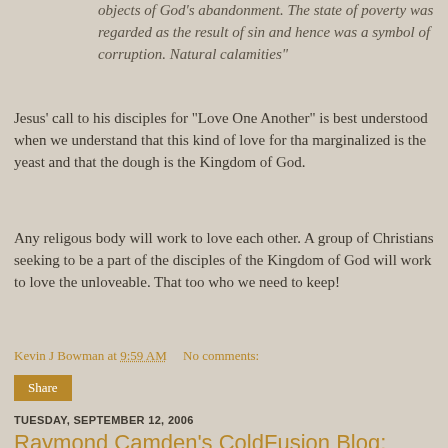objects of God's abandonment. The state of poverty was regarded as the result of sin and hence was a symbol of corruption. Natural calamities"
Jesus' call to his disciples for "Love One Another" is best understood when we understand that this kind of love for tha marginalized is the yeast and that the dough is the Kingdom of God.
Any religous body will work to love each other. A group of Christians seeking to be a part of the disciples of the Kingdom of God will work to love the unloveable. That too who we need to keep!
Kevin J Bowman at 9:59 AM    No comments:
Share
TUESDAY, SEPTEMBER 12, 2006
Raymond Camden's ColdFusion Blog: